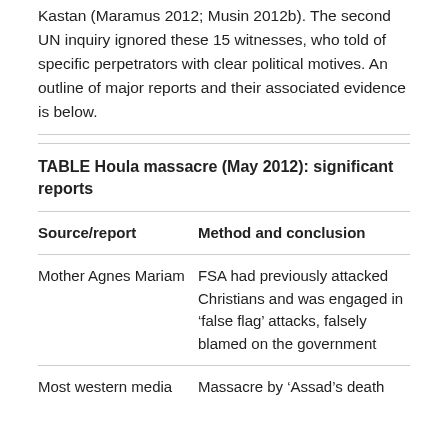Kastan (Maramus 2012; Musin 2012b). The second UN inquiry ignored these 15 witnesses, who told of specific perpetrators with clear political motives. An outline of major reports and their associated evidence is below.
TABLE Houla massacre (May 2012): significant reports
| Source/report | Method and conclusion |
| --- | --- |
| Mother Agnes Mariam | FSA had previously attacked Christians and was engaged in ‘false flag’ attacks, falsely blamed on the government |
| Most western media | Massacre by ‘Assad’s death |